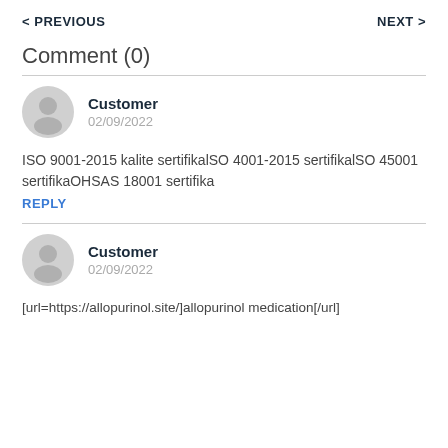< PREVIOUS    NEXT >
Comment (0)
Customer
02/09/2022
ISO 9001-2015 kalite sertifikalSO 4001-2015 sertifikalSO 45001 sertifikaOHSAS 18001 sertifika
REPLY
Customer
02/09/2022
[url=https://allopurinol.site/]allopurinol medication[/url]